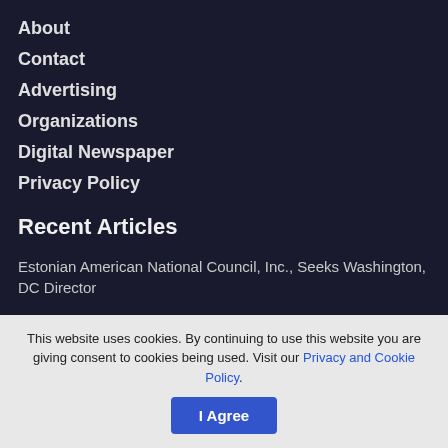About
Contact
Advertising
Organizations
Digital Newspaper
Privacy Policy
Recent Articles
Estonian American National Council, Inc., Seeks Washington, DC Director
In Memoriam Dorothea Simonson
Amanda Means & Jaanika Peerna Art Exhibit in NY Estonian
This website uses cookies. By continuing to use this website you are giving consent to cookies being used. Visit our Privacy and Cookie Policy.